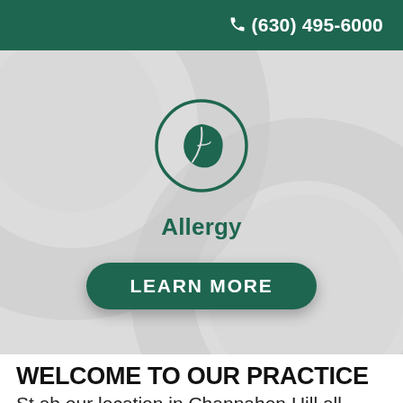☎ (630) 495-6000
[Figure (illustration): Allergy section with a leaf icon inside a green circle on a gray background with decorative large light circles, label 'Allergy' in dark green bold text, and a dark green rounded 'LEARN MORE' button]
WELCOME TO OUR PRACTICE
St ab our location in Channahon Hill all